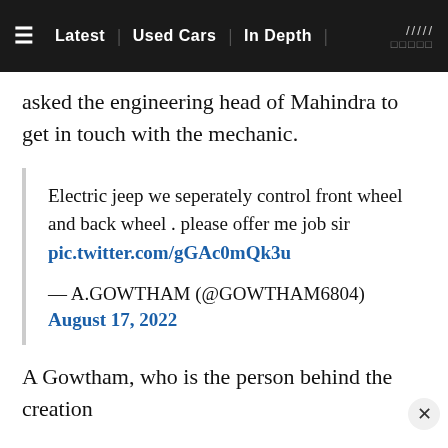≡  Latest | Used Cars | In Depth | ///// □□□□□
asked the engineering head of Mahindra to get in touch with the mechanic.
Electric jeep we seperately control front wheel and back wheel . please offer me job sir pic.twitter.com/gGAc0mQk3u

— A.GOWTHAM (@GOWTHAM6804)
August 17, 2022
A Gowtham, who is the person behind the creation